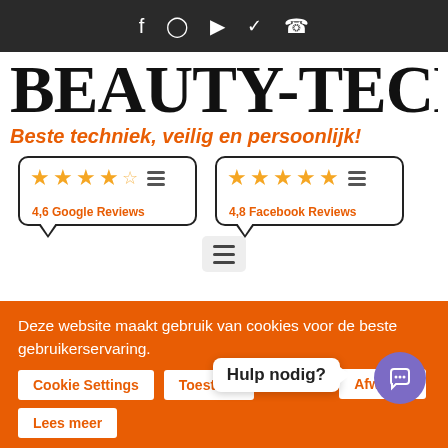Social media icons: Facebook, Instagram, YouTube, Twitter, WhatsApp
BEAUTY-TECH
Beste techniek, veilig en persoonlijk!
[Figure (other): 4.6 Google Reviews rating badge with 4.5 stars]
[Figure (other): 4.8 Facebook Reviews rating badge with 5 stars]
[Figure (other): Hamburger menu button]
Deze website maakt gebruik van cookies voor de beste gebruikerservaring.
Cookie Settings   Toestaan   Afwijzen
Hulp nodig?
Lees meer